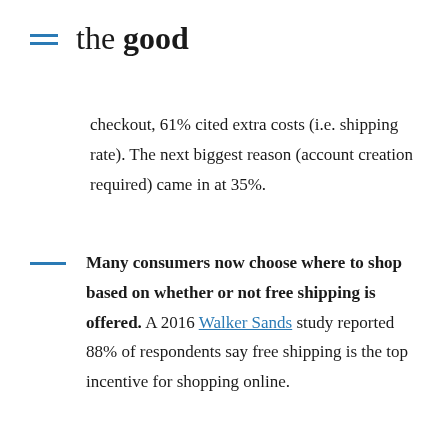the good
checkout, 61% cited extra costs (i.e. shipping rate). The next biggest reason (account creation required) came in at 35%.
Many consumers now choose where to shop based on whether or not free shipping is offered. A 2016 Walker Sands study reported 88% of respondents say free shipping is the top incentive for shopping online.